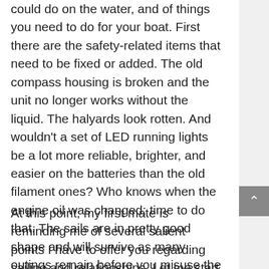could do on the water, and of things you need to do for your boat. First there are the safety-related items that need to be fixed or added. The old compass housing is broken and the unit no longer works without the liquid. The halyards look rotten. And wouldn't a set of LED running lights be a lot more reliable, brighter, and easier on the batteries than the old filament ones? Who knows when the engine oil was changed; time to do that. The sails are in pretty good shape and will survive as many outings remain before you misuse the reefing lines to secure the main, instead of passing them through the grommets at the leading and trailing edges. Ah, how we live and learn.
At this point, my first mate is reminding me of several salient points I have to offer you regarding sailing and relationships. Let me start by asking: